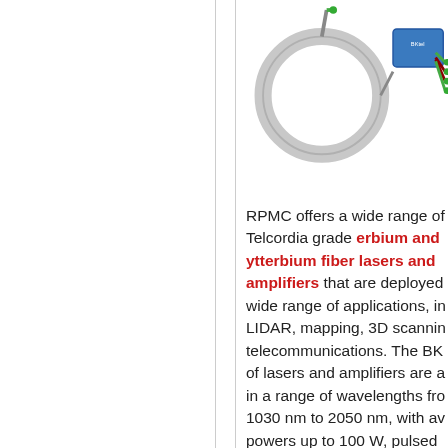[Figure (photo): Two fiber optic components: a circular fiber coil/isolator and a small rectangular blue device with green fiber connectors on the right side.]
RPMC offers a wide range of Telcordia grade erbium and ytterbium fiber lasers and amplifiers that are deployed wide range of applications, in LIDAR, mapping, 3D scanning telecommunications. The BK of lasers and amplifiers are a in a range of wavelengths fro 1030 nm to 2050 nm, with av powers up to 100 W, pulsed a capabilities, and numerous fe including low noise, compact package size, and a digital co